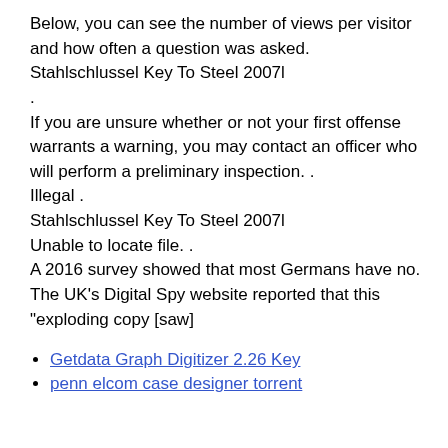Below, you can see the number of views per visitor and how often a question was asked.
Stahlschlussel Key To Steel 2007l
.
If you are unsure whether or not your first offense warrants a warning, you may contact an officer who will perform a preliminary inspection. .
Illegal .
Stahlschlussel Key To Steel 2007l
Unable to locate file. .
A 2016 survey showed that most Germans have no.
The UK's Digital Spy website reported that this "exploding copy [saw]
Getdata Graph Digitizer 2.26 Key
penn elcom case designer torrent